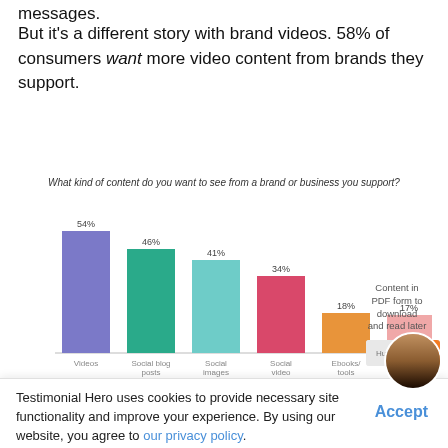messages.
But it's a different story with brand videos. 58% of consumers want more video content from brands they support.
[Figure (bar-chart): What kind of content do you want to see from a brand or business you support?]
Testimonial Hero uses cookies to provide necessary site functionality and improve your experience. By using our website, you agree to our privacy policy.
Video can be a powerful tool to help your brand build